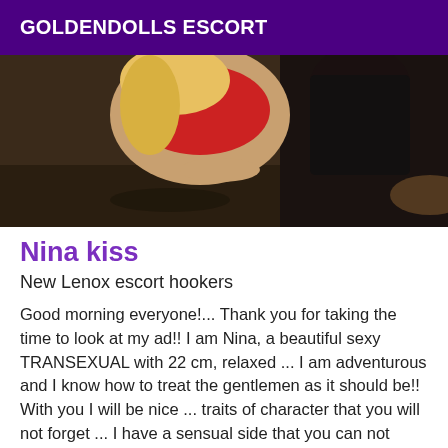GOLDENDOLLS ESCORT
[Figure (photo): Photo of a blonde woman in a red outfit posed on/near dark furniture]
Nina kiss
New Lenox escort hookers
Good morning everyone!... Thank you for taking the time to look at my ad!! I am Nina, a beautiful sexy TRANSEXUAL with 22 cm, relaxed ... I am adventurous and I know how to treat the gentlemen as it should be!! With you I will be nice ... traits of character that you will not forget ... I have a sensual side that you can not resist!! I am respectful and I expect the same from you. My company is intended for the gentleman who appreciates quality transsexuals, my services will be what you want and for the time you want! I will be of a